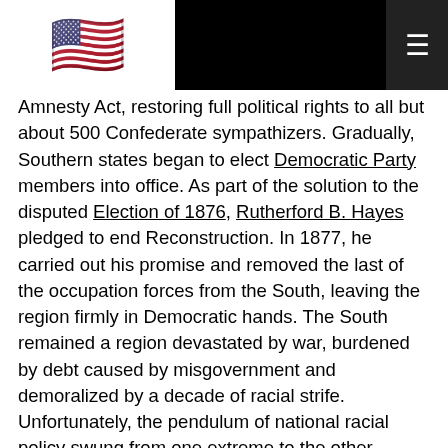🇺🇸 ☰
Amnesty Act, restoring full political rights to all but about 500 Confederate sympathizers. Gradually, Southern states began to elect Democratic Party members into office. As part of the solution to the disputed Election of 1876, Rutherford B. Hayes pledged to end Reconstruction. In 1877, he carried out his promise and removed the last of the occupation forces from the South, leaving the region firmly in Democratic hands. The South remained a region devastated by war, burdened by debt caused by misgovernment and demoralized by a decade of racial strife. Unfortunately, the pendulum of national racial policy swung from one extreme to the other. Whereas formerly the policy had supported harsh penalties against Southern white leaders, it now tolerated new and humiliating versions of discrimination against blacks. The last quarter of the 19th century saw a profusion of Jim Crow laws that segregated Southern society. In effect, the 14th and 15th Amendments had been nullified in the South.